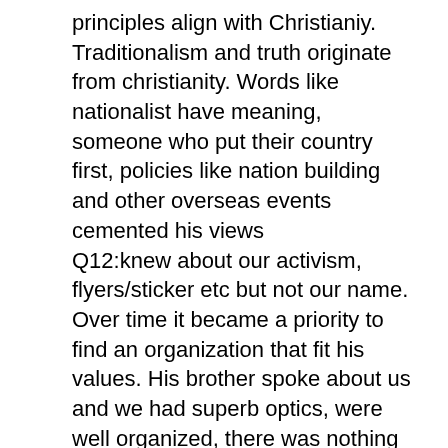principles align with Christianiy. Traditionalism and truth originate from christianity. Words like nationalist have meaning, someone who put their country first, policies like nation building and other overseas events cemented his views
Q12:knew about our activism, flyers/sticker etc but not our name. Over time it became a priority to find an organization that fit his values. His brother spoke about us and we had superb optics, were well organized, there was nothing that made him question the organization. The DC march is what made him put our name to our actions. Was most impressed and influenced to join. Wants to join because his inner circle is only a handful of guys. They need connections and he cant secure anything for his descendents on his own. "strong men are better together" I willing to apply himself towards activism
Q13:has heard of civic nationalism. Migratory